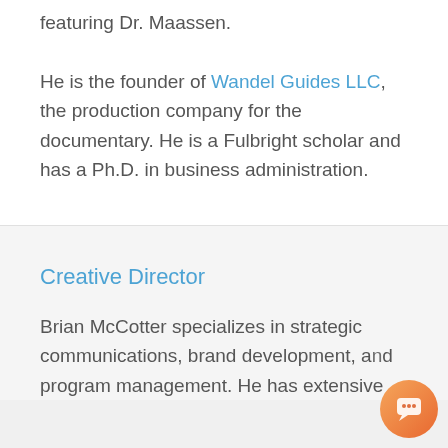featuring Dr. Maassen. He is the founder of Wandel Guides LLC, the production company for the documentary. He is a Fulbright scholar and has a Ph.D. in business administration.
Creative Director
Brian McCotter specializes in strategic communications, brand development, and program management. He has extensive